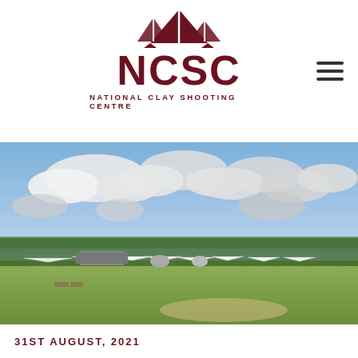[Figure (logo): NCSC National Clay Shooting Centre logo with tent/marquee silhouette icon above the letters NCSC in dark maroon, with tagline NATIONAL CLAY SHOOTING CENTRE below]
[Figure (photo): Outdoor shooting range landscape photograph showing multiple white marquee/tent structures across a grassy field under a dramatic cloudy blue sky, with trees in the background]
31ST AUGUST, 2021